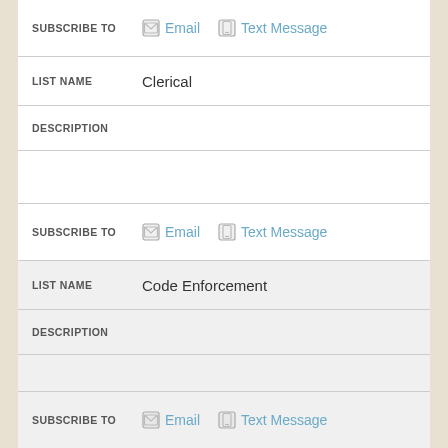SUBSCRIBE TO   Email   Text Message
LIST NAME   Clerical
DESCRIPTION
SUBSCRIBE TO   Email   Text Message
LIST NAME   Code Enforcement
DESCRIPTION
SUBSCRIBE TO   Email   Text Message
LIST NAME   Communications
DESCRIPTION